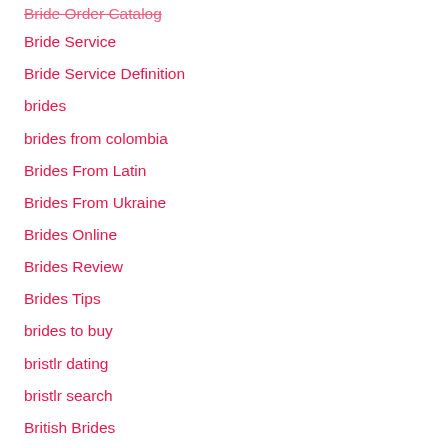Bride Order Catalog
Bride Service
Bride Service Definition
brides
brides from colombia
Brides From Latin
Brides From Ukraine
Brides Online
Brides Review
Brides Tips
brides to buy
bristlr dating
bristlr search
British Brides